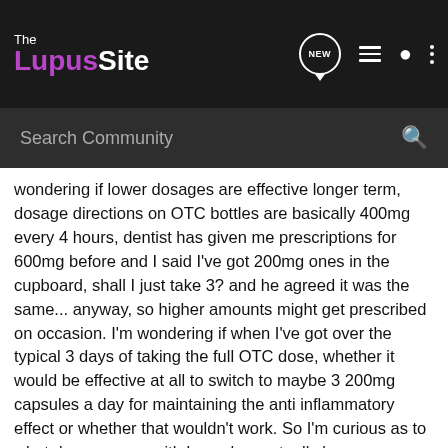The Lupus Site
Search Community
wondering if lower dosages are effective longer term, dosage directions on OTC bottles are basically 400mg every 4 hours, dentist has given me prescriptions for 600mg before and I said I've got 200mg ones in the cupboard, shall I just take 3? and he agreed it was the same... anyway, so higher amounts might get prescribed on occasion. I'm wondering if when I've got over the typical 3 days of taking the full OTC dose, whether it would be effective at all to switch to maybe 3 200mg capsules a day for maintaining the anti inflammatory effect or whether that wouldn't work. So I'm curious as to what dose anyone with lupus has actually been prescribed for advil or ibuprofen. i.e. What does a doctor direct when he prescribes ibuprofen as an anti inflammatory for long term use (rather than as a short term analgesic) ?